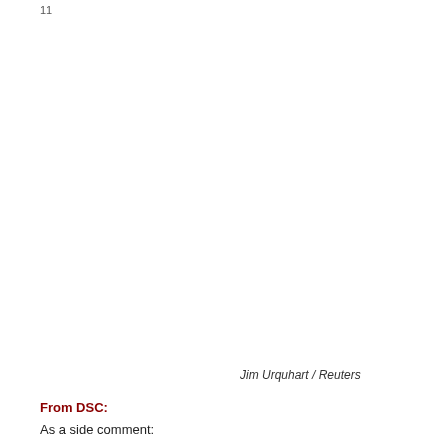11
Jim Urquhart / Reuters
From DSC:
As a side comment: